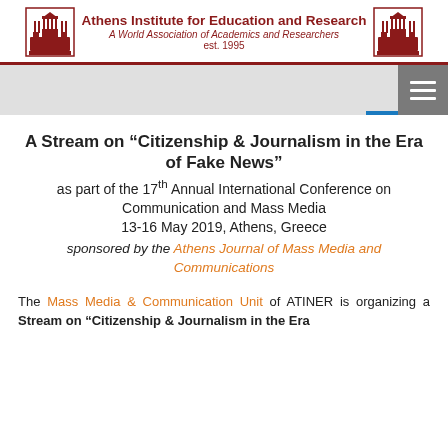Athens Institute for Education and Research — A World Association of Academics and Researchers — est. 1995
[Figure (logo): Athens Institute for Education and Research header with two Acropolis/Parthenon logos flanking the institute name and tagline]
A Stream on “Citizenship & Journalism in the Era of Fake News” as part of the 17th Annual International Conference on Communication and Mass Media 13-16 May 2019, Athens, Greece sponsored by the Athens Journal of Mass Media and Communications
The Mass Media & Communication Unit of ATINER is organizing a Stream on “Citizenship & Journalism in the Era